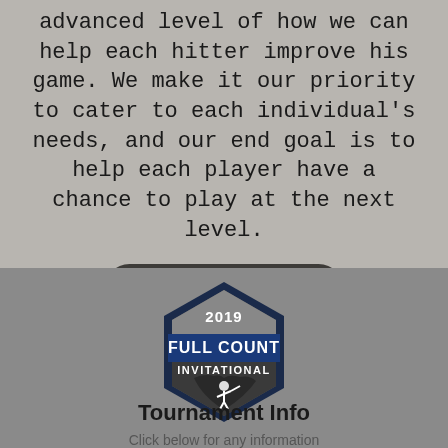advanced level of how we can help each hitter improve his game. We make it our priority to cater to each individual's needs, and our end goal is to help each player have a chance to play at the next level.
Meet the Staff
[Figure (logo): 2019 Full Count Invitational hexagon logo with baseball player silhouette and state map]
Tournament Info
Click below for any information